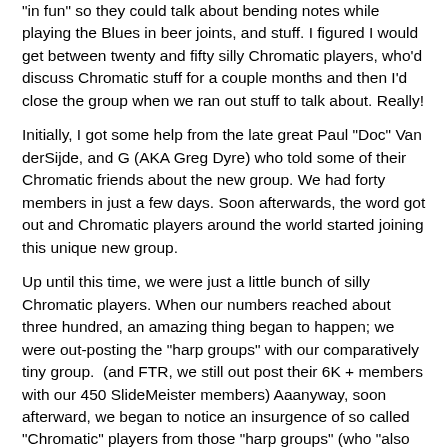"in fun" so they could talk about bending notes while playing the Blues in beer joints, and stuff. I figured I would get between twenty and fifty silly Chromatic players, who'd discuss Chromatic stuff for a couple months and then I'd close the group when we ran out stuff to talk about. Really!
Initially, I got some help from the late great Paul "Doc" Van derSijde, and G (AKA Greg Dyre) who told some of their Chromatic friends about the new group. We had forty members in just a few days. Soon afterwards, the word got out and Chromatic players around the world started joining this unique new group.
Up until this time, we were just a little bunch of silly Chromatic players. When our numbers reached about three hundred, an amazing thing began to happen; we were out-posting the "harp groups" with our comparatively tiny group.  (and FTR, we still out post their 6K + members with our 450 SlideMeister members) Aaanyway, soon afterward, we began to notice an insurgence of so called "Chromatic" players from those "harp groups" (who "also happened to play diatonics") who were obviously more liberal minded and enlightened, and not at all mean-spirited, close-minded and a bigoted "hater" like I